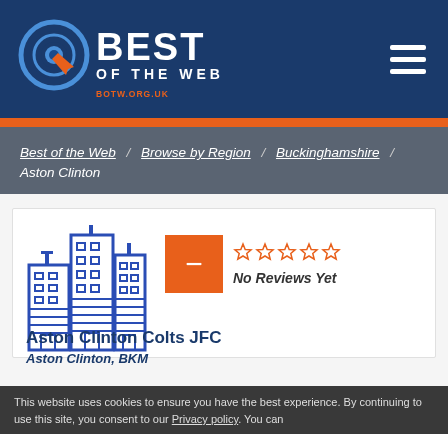[Figure (logo): Best of the Web logo with circular target icon and text BEST OF THE WEB, BOTW.ORG.UK]
Best of the Web - BOTW.ORG.UK
Best of the Web / Browse by Region / Buckinghamshire / Aston Clinton
[Figure (illustration): Blue outline illustration of city buildings/skyscrapers]
[Figure (other): Orange minus/dash box with 5 empty star rating and text No Reviews Yet]
Aston Clinton Colts JFC
Aston Clinton, BKM
This website uses cookies to ensure you have the best experience. By continuing to use this site, you consent to our Privacy policy. You can